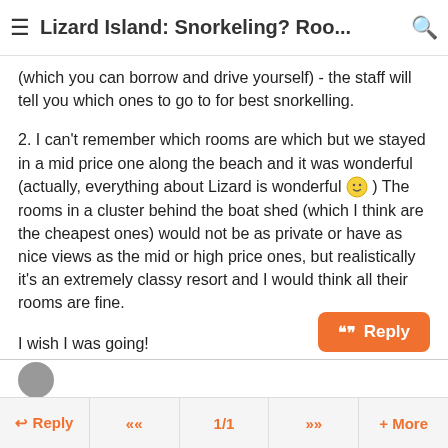≡ Lizard Island: Snorkeling? Roo... 🔍
(which you can borrow and drive yourself) - the staff will tell you which ones to go to for best snorkelling.
2. I can't remember which rooms are which but we stayed in a mid price one along the beach and it was wonderful (actually, everything about Lizard is wonderful 😊 ) The rooms in a cluster behind the boat shed (which I think are the cheapest ones) would not be as private or have as nice views as the mid or high price ones, but realistically it's an extremely classy resort and I would think all their rooms are fine.
I wish I was going!
↩ Reply  «  1/1  »  + More